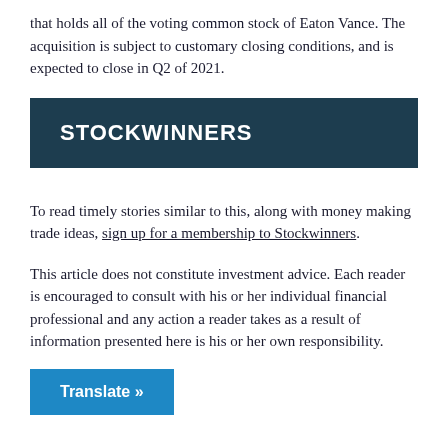that holds all of the voting common stock of Eaton Vance. The acquisition is subject to customary closing conditions, and is expected to close in Q2 of 2021.
STOCKWINNERS
To read timely stories similar to this, along with money making trade ideas, sign up for a membership to Stockwinners.
This article does not constitute investment advice. Each reader is encouraged to consult with his or her individual financial professional and any action a reader takes as a result of information presented here is his or her own responsibility.
Translate »